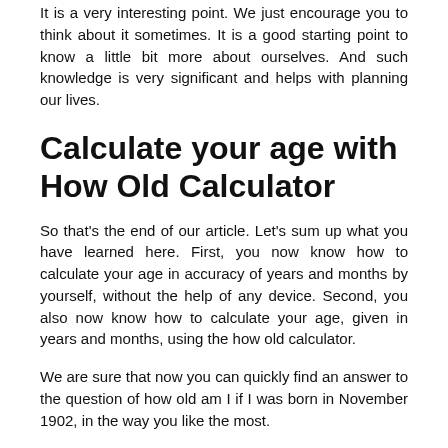It is a very interesting point. We just encourage you to think about it sometimes. It is a good starting point to know a little bit more about ourselves. And such knowledge is very significant and helps with planning our lives.
Calculate your age with How Old Calculator
So that's the end of our article. Let's sum up what you have learned here. First, you now know how to calculate your age in accuracy of years and months by yourself, without the help of any device. Second, you also now know how to calculate your age, given in years and months, using the how old calculator.
We are sure that now you can quickly find an answer to the question of how old am I if I was born in November 1902, in the way you like the most.
Of course, we encourage you to use our how old calculator, even if you prefer making your own calculations. We are pretty sure that after one use of it you will like our tool and will use it once more and… more.